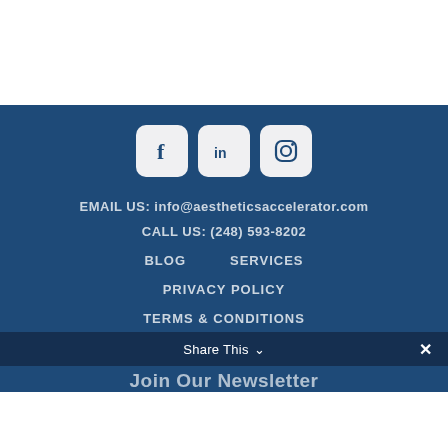[Figure (other): White space at top of page]
[Figure (other): Social media icons: Facebook, LinkedIn, Instagram on dark blue background]
EMAIL US: info@aestheticsaccelerator.com
CALL US: (248) 593-8202
BLOG
SERVICES
PRIVACY POLICY
TERMS & CONDITIONS
Share This  ✓   ✕
Join Our Newsletter